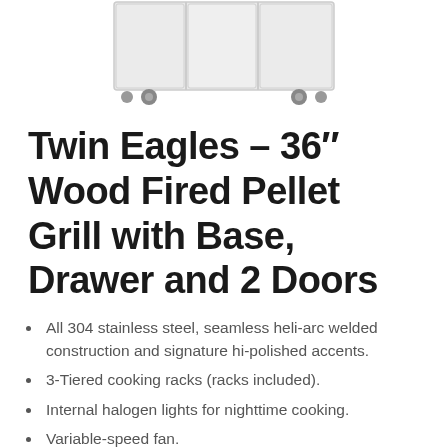[Figure (photo): Product photo of Twin Eagles 36-inch Wood Fired Pellet Grill with Base, Drawer and 2 Doors — a stainless steel grill unit with three cabinet doors on wheels, viewed from the front, showing the bottom portion of the unit.]
Twin Eagles – 36″ Wood Fired Pellet Grill with Base, Drawer and 2 Doors
All 304 stainless steel, seamless heli-arc welded construction and signature hi-polished accents.
3-Tiered cooking racks (racks included).
Internal halogen lights for nighttime cooking.
Variable-speed fan.
Heavy-duty 120V auger motor.